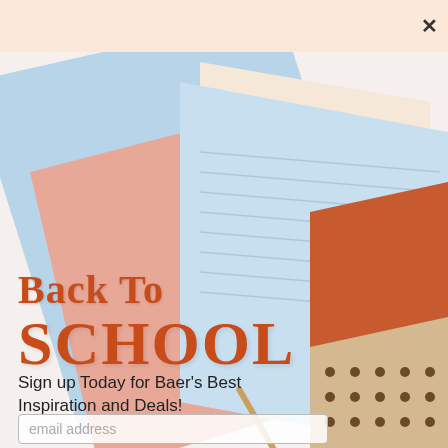[Figure (illustration): Spiral-bound notebook advertisement showing pastel-colored notebooks (light blue, pink, tan with dots, terracotta) fanned out on a white background, with a decorative spiral coil at the top and a close (X) button in the upper right.]
Back To SCHOOL
Sign up Today for Baer's Best Inspiration and Deals!
email address